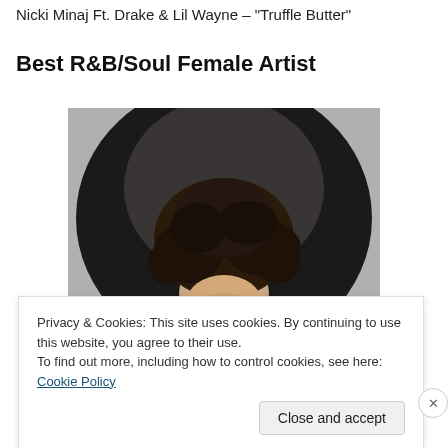Nicki Minaj Ft. Drake & Lil Wayne – "Truffle Butter"
Best R&B/Soul Female Artist
[Figure (photo): Black and white/dark-toned photograph of a person with curly dark hair against a dark circular background]
Privacy & Cookies: This site uses cookies. By continuing to use this website, you agree to their use.
To find out more, including how to control cookies, see here: Cookie Policy
Close and accept